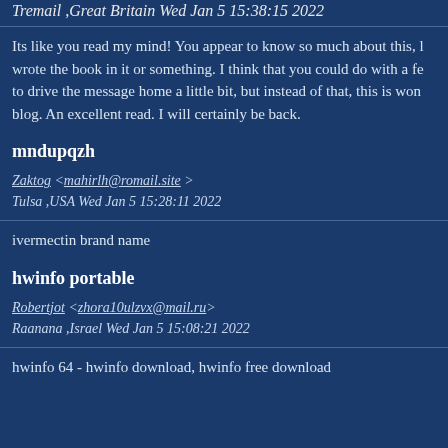Tremail ,Great Britain Wed Jan 5 15:38:15 2022
Its like you read my mind! You appear to know so much about this, like you wrote the book in it or something. I think that you could do with a few pics to drive the message home a little bit, but instead of that, this is wonderful blog. An excellent read. I will certainly be back.
mndupqzh
Zaktog <mahirlh@romail.site> Tulsa ,USA Wed Jan 5 15:28:11 2022
ivermectin brand name
hwinfo portable
Robertjot <zhora10ulzvx@mail.ru> Raanana ,Israel Wed Jan 5 15:08:21 2022
hwinfo 64 - hwinfo download, hwinfo free download